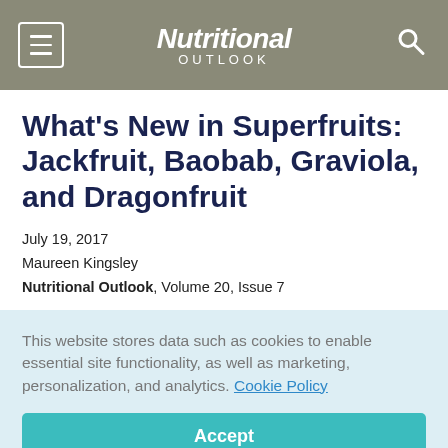Nutritional OUTLOOK
What's New in Superfruits: Jackfruit, Baobab, Graviola, and Dragonfruit
July 19, 2017
Maureen Kingsley
Nutritional Outlook, Volume 20, Issue 7
This website stores data such as cookies to enable essential site functionality, as well as marketing, personalization, and analytics. Cookie Policy
Accept
Deny